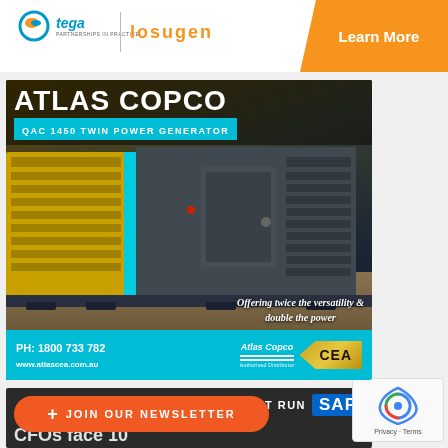[Figure (logo): Tega and Losugen logos with Learn More button on orange background]
[Figure (photo): Atlas Copco QAC 1450 Twin Power Generator advertisement showing a large industrial generator unit in yellow and grey with contact details PH: 1800 733 782 and www.atlascea.com.au]
[Figure (photo): SAP advertisement with THE BEST RUN SAP text and background showing industrial pipes with worker]
[Figure (other): JOIN OUR NEWSLETTER button in orange]
[Figure (other): reCAPTCHA widget showing Privacy and Terms links]